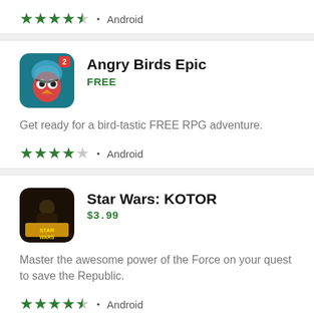[Figure (other): Star rating: 4.5 stars, Android platform indicator]
[Figure (other): Angry Birds Epic app icon - bird character in blue helmet]
Angry Birds Epic
FREE
Get ready for a bird-tastic FREE RPG adventure.
[Figure (other): Star rating: 4 stars, Android platform indicator]
[Figure (other): Star Wars: KOTOR app icon - Star Wars logo on dark background]
Star Wars: KOTOR
$3.99
Master the awesome power of the Force on your quest to save the Republic.
[Figure (other): Star rating: 4.5 stars, Android platform indicator]